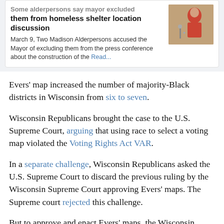[Figure (screenshot): News article card with headline 'Some alderpersons say mayor excluded them from homeless shelter location discussion' and a photo of a woman in red at a microphone, with date March 9 and partial article text.]
Evers' map increased the number of majority-Black districts in Wisconsin from six to seven.
Wisconsin Republicans brought the case to the U.S. Supreme Court, arguing that using race to select a voting map violated the Voting Rights Act VAR.
In a separate challenge, Wisconsin Republicans asked the U.S. Supreme Court to discard the previous ruling by the Wisconsin Supreme Court approving Evers' maps. The Supreme court rejected this challenge.
But to approve and enact Evers' maps, the Wisconsin Supreme Court must analyze information proving